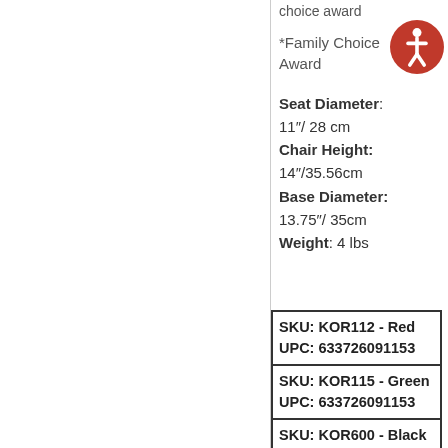choice award
*Family Choice Award
Seat Diameter: 11"/ 28 cm
Chair Height: 14"/35.56cm
Base Diameter: 13.75"/ 35cm
Weight: 4 lbs
| SKU: KOR112 - Red
UPC: 633726091153 |
| SKU: KOR115 - Green
UPC: 633726091153 |
| SKU: KOR600 - Black
UPC: 616932106002 |